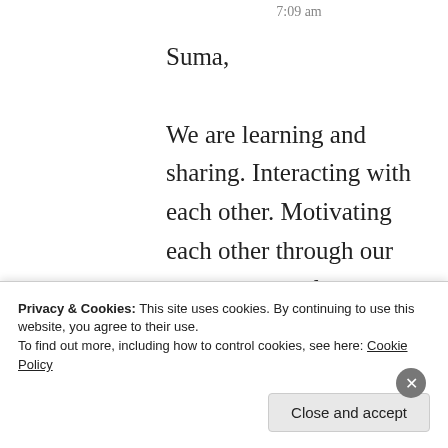7:09 am
Suma,

We are learning and sharing. Interacting with each other. Motivating each other through our expressions. I feel so happy in this world of bloggers. Therefore I can put my opinion with free…
Privacy & Cookies: This site uses cookies. By continuing to use this website, you agree to their use.
To find out more, including how to control cookies, see here: Cookie Policy
Close and accept